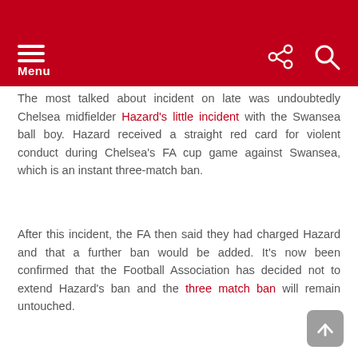Menu
The most talked about incident on late was undoubtedly Chelsea midfielder Hazard's little incident with the Swansea ball boy. Hazard received a straight red card for violent conduct during Chelsea's FA cup game against Swansea, which is an instant three-match ban.
After this incident, the FA then said they had charged Hazard and that a further ban would be added. It's now been confirmed that the Football Association has decided not to extend Hazard's ban and the three match ban will remain untouched.